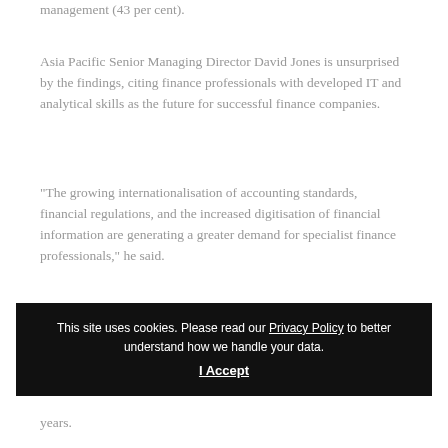management (43 per cent).
Asia Pacific Senior Managing Director David Jones is unsurprised by the findings, citing finance professionals with developed IT and analytical skills as the future for successful finance companies.
“The growing internationalisation of accounting standards, financial regulations, and the increased digitisation of financial information are generating a greater demand for specialist finance professionals,” he said.
“A digitised finance department usually results in cost savings and more efficient business processes.”
This site uses cookies. Please read our Privacy Policy to better understand how we handle your data. I Accept
years.